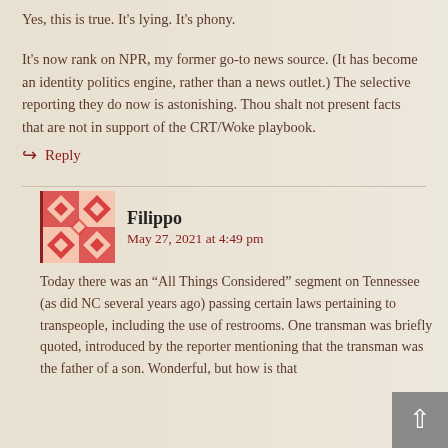Yes, this is true. It's lying. It's phony.
It's now rank on NPR, my former go-to news source. (It has become an identity politics engine, rather than a news outlet.) The selective reporting they do now is astonishing. Thou shalt not present facts that are not in support of the CRT/Woke playbook.
Reply
Filippo
May 27, 2021 at 4:49 pm
Today there was an “All Things Considered” segment on Tennessee (as did NC several years ago) passing certain laws pertaining to transpeople, including the use of restrooms. One transman was briefly quoted, introduced by the reporter mentioning that the transman was the father of a son. Wonderful, but how is that